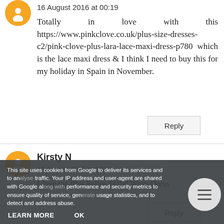16 August 2016 at 00:19
Totally in love with this https://www.pinkclove.co.uk/plus-size-dresses-c2/pink-clove-plus-lara-lace-maxi-dress-p780 which is the lace maxi dress & I think I need to buy this for my holiday in Spain in November.
Reply
Kirsty N
16 August 2016 at 12:11
I love the Plus Felice Floral Wrap Dress
Reply
16 August 2016 at 16:20
Love the Plus Blanes Tile Print Belted Jersey Dress
This site uses cookies from Google to deliver its services and to analyse traffic. Your IP address and user-agent are shared with Google along with performance and security metrics to ensure quality of service, generate usage statistics, and to detect and address abuse.
LEARN MORE
OK